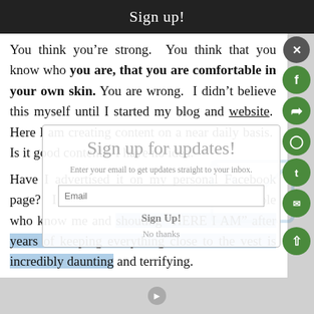Sign up!
You think you're strong. You think that you know who you are, that you are comfortable in your own skin. You are wrong. I didn't believe this myself until I started my blog and website. Here I am creating content on a near daily basis. Is it good content? I have no idea.
[Figure (infographic): Email newsletter sign-up modal overlay with title 'Sign up for updates!', subtitle 'Enter your email to get updates straight to your inbox.', an email text input field, a 'Sign Up!' button, and a 'No thanks' link. A light blue email envelope icon is visible in the background.]
Have I advertised it on my personal Facebook page? I have not. Reaching out to the people who know me and shouting “HERE I AM” after years of keeping everything close to the vest is incredibly daunting and terrifying.